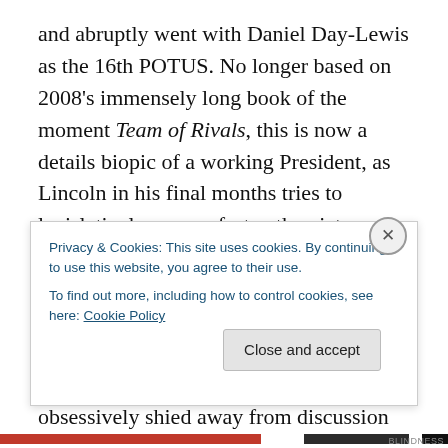and abruptly went with Daniel Day-Lewis as the 16th POTUS. No longer based on 2008's immensely long book of the moment Team of Rivals, this is now a details biopic of a working President, as Lincoln in his final months tries to legislatively copper-fasten the victory against slavery. Day-Lewis will powerhouse his way thru proceedings, leading a strong cast including the peerless Joseph Gordon-Levitt, but what worries is Tony Kushner's script. Munich obsessively shied away from discussion of the causes and conduct of the Israel/Palestine conflict. Can Kushner really do 'details'?
Privacy & Cookies: This site uses cookies. By continuing to use this website, you agree to their use.
To find out more, including how to control cookies, see here: Cookie Policy